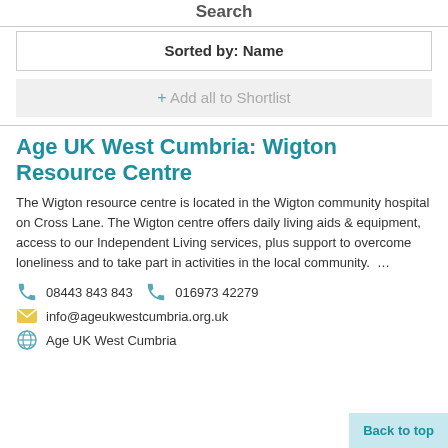Search
Sorted by: Name
+ Add all to Shortlist
Age UK West Cumbria: Wigton Resource Centre
The Wigton resource centre is located in the Wigton community hospital on Cross Lane. The Wigton centre offers daily living aids & equipment, access to our Independent Living services, plus support to overcome loneliness and to take part in activities in the local community.  …
08443 843 843   016973 42279
info@ageukwestcumbria.org.uk
Age UK West Cumbria
Back to top